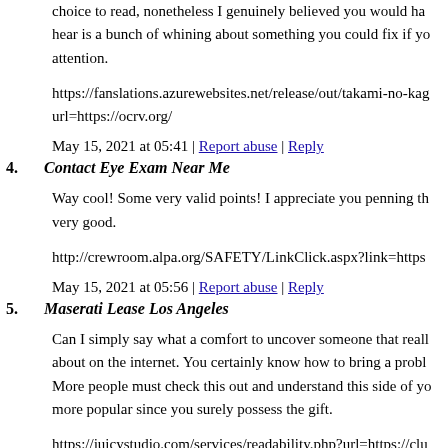choice to read, nonetheless I genuinely believed you would ha hear is a bunch of whining about something you could fix if yo attention.
https://fanslations.azurewebsites.net/release/out/takami-no-kag url=https://ocrv.org/
May 15, 2021 at 05:41 | Report abuse | Reply
4. Contact Eye Exam Near Me
Way cool! Some very valid points! I appreciate you penning th very good.
http://crewroom.alpa.org/SAFETY/LinkClick.aspx?link=https
May 15, 2021 at 05:56 | Report abuse | Reply
5. Maserati Lease Los Angeles
Can I simply say what a comfort to uncover someone that reall about on the internet. You certainly know how to bring a probl More people must check this out and understand this side of yo more popular since you surely possess the gift.
https://juicystudio.com/services/readability.php?url=https://clu
May 15, 2021 at 07:07 | Report abuse | Reply